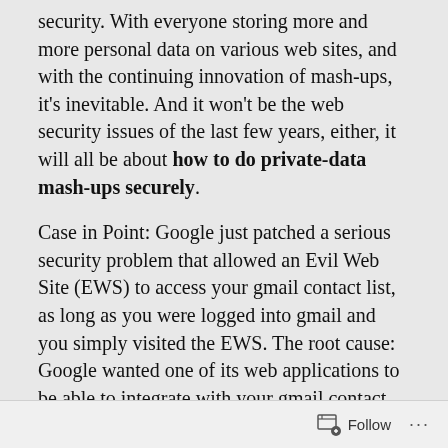security. With everyone storing more and more personal data on various web sites, and with the continuing innovation of mash-ups, it's inevitable. And it won't be the web security issues of the last few years, either, it will all be about how to do private-data mash-ups securely.
Case in Point: Google just patched a serious security problem that allowed an Evil Web Site (EWS) to access your gmail contact list, as long as you were logged into gmail and you simply visited the EWS. The root cause: Google wanted one of its web applications to be able to integrate with your gmail contact list, and their chosen implementation was to use your browser as the transfer point. This makes sense, because your browser is likely already authenticated to gmail, so there's a nice
Follow ···